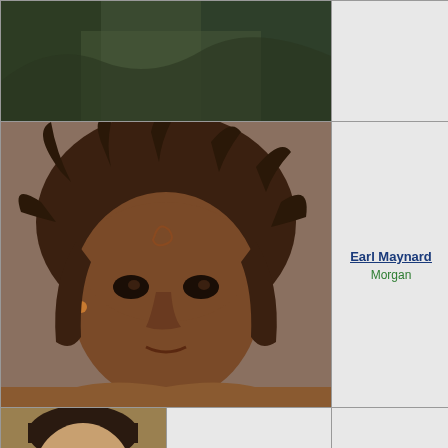[Figure (photo): Partial top photo, dark forest/jungle background, cropped]
[Figure (photo): Close-up face of actor Earl Maynard with wild dark hair, shirtless, as Morgan]
Earl Maynard
Morgan
[Figure (photo): Headshot of actor George Murdock in suit/tuxedo, smiling]
George Murdock
Quade
[Figure (photo): Partial headshot of actor John Davis Chandler, blonde/grey hair]
John Davis
Chandler